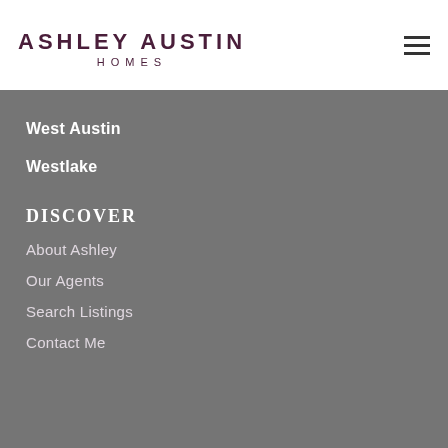[Figure (logo): Ashley Austin Homes logo with large uppercase serif text and HOMES in spaced letters below]
West Austin
Westlake
DISCOVER
About Ashley
Our Agents
Search Listings
Contact Me